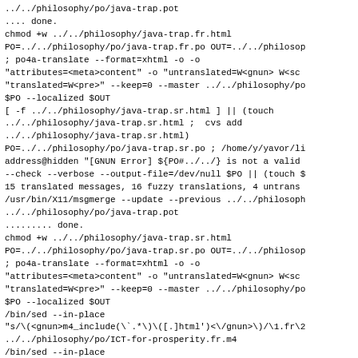../../philosophy/po/java-trap.pot
.... done.
chmod +w ../../philosophy/java-trap.fr.html
PO=../../philosophy/po/java-trap.fr.po OUT=../../philosop
; po4a-translate --format=xhtml -o ontagerror=silent -o
"attributes=<meta>content" -o "untranslated=W<gnun> W<sc
"translated=W<pre>" --keep=0 --master ../../philosophy/po
$PO --localized $OUT
[ -f ../../philosophy/java-trap.sr.html ] || (touch
../../philosophy/java-trap.sr.html ;  cvs add
../../philosophy/java-trap.sr.html)
PO=../../philosophy/po/java-trap.sr.po ; /home/y/yavor/li
address@hidden "[GNUN Error] ${PO#../../} is not a valid
--check --verbose --output-file=/dev/null $PO || (touch $
15 translated messages, 16 fuzzy translations, 4 untrans
/usr/bin/X11/msgmerge --update --previous ../../philosoph
../../philosophy/po/java-trap.pot
......... done.
chmod +w ../../philosophy/java-trap.sr.html
PO=../../philosophy/po/java-trap.sr.po OUT=../../philosop
; po4a-translate --format=xhtml -o ontagerror=silent -o
"attributes=<meta>content" -o "untranslated=W<gnun> W<sc
"translated=W<pre>" --keep=0 --master ../../philosophy/po
$PO --localized $OUT
/bin/sed --in-place
"s/\(<gnun>m4_include(\`.*\)\([.]html')>\/gnun>\)/\1.fr\2
../../philosophy/po/ICT-for-prosperity.fr.m4
/bin/sed --in-place
"s/\(<gnun>m4_include(\`.*\)\([.]html')>\/gnun>\)/\1.bg\2
../../philosophy/po/java-trap.bg.m4
/bin/sed --in-place "s/<gnun>(.*)</gnun>(.*)</gnun>\)/\1(p"